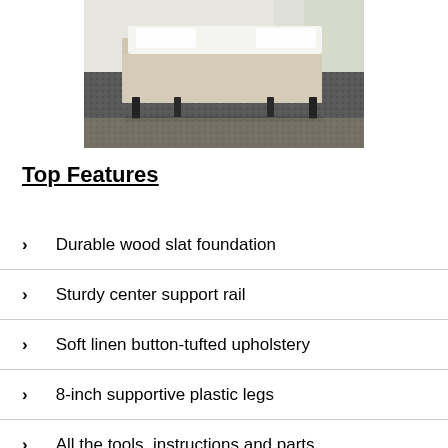[Figure (photo): A beige upholstered platform bed with dark legs on a dark shag rug in a bright bedroom.]
Top Features
Durable wood slat foundation
Sturdy center support rail
Soft linen button-tufted upholstery
8-inch supportive plastic legs
All the tools, instructions and parts